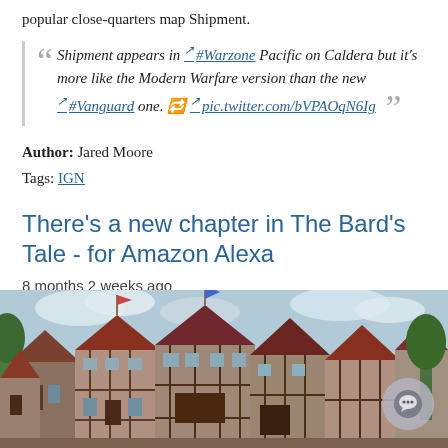popular close-quarters map Shipment.
Shipment appears in #Warzone Pacific on Caldera but it's more like the Modern Warfare version than the new #Vanguard one. 🔁 pic.twitter.com/bVPAOqN6Ig
Author: Jared Moore
Tags: IGN
There's a new chapter in The Bard's Tale - for Amazon Alexa
8 months 2 weeks ago
Link: Eurogamer
[Figure (illustration): Medieval fantasy town illustration showing tudor-style buildings with red/brown roofs and timber framing, cloudy sky in background. An interactive chat button overlay is visible in the bottom right corner.]